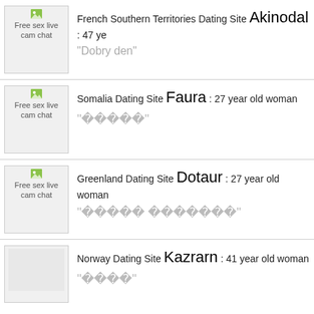French Southern Territories Dating Site Akinodal : 47 ye... "Dobry den"
Somalia Dating Site Faura : 27 year old woman ""
Greenland Dating Site Dotaur : 27 year old woman ""
Norway Dating Site Kazrarn : 41 year old woman ""